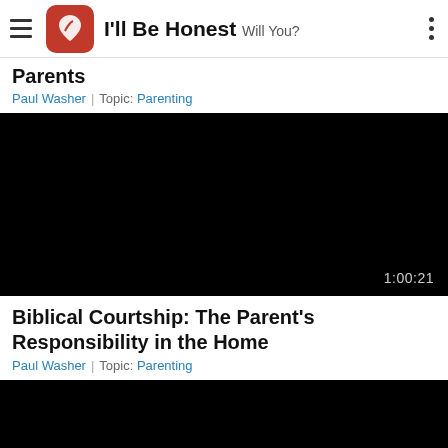I'll Be Honest  Will You?
Parents
Paul Washer | Topic: Parenting
[Figure (screenshot): Black video thumbnail with duration 1:00:21 shown in bottom-right corner]
Biblical Courtship: The Parent's Responsibility in the Home
Paul Washer | Topic: Parenting
[Figure (screenshot): Black video thumbnail, partially visible at bottom of page]